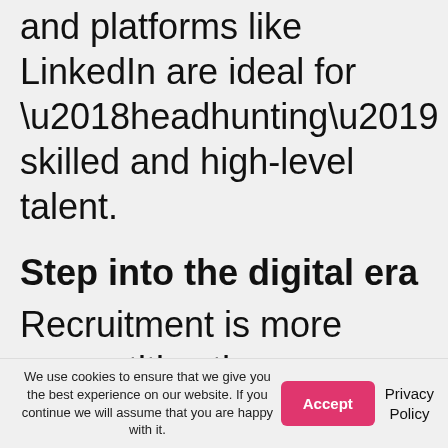and platforms like LinkedIn are ideal for ‘headhunting’ skilled and high-level talent.
Step into the digital era
Recruitment is more competitive than ever before. And now that the market has become increasingly driven by candidates and their desires, it is the employer (and, in turn,
We use cookies to ensure that we give you the best experience on our website. If you continue we will assume that you are happy with it.
Accept
Privacy Policy